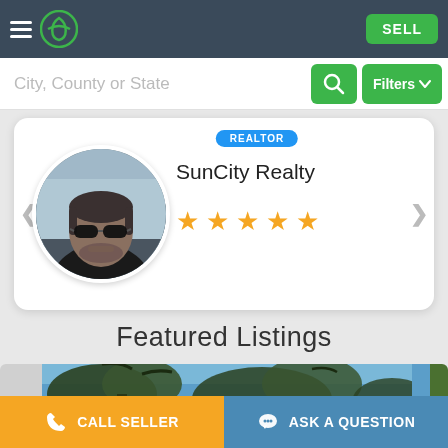Navigation bar with hamburger menu, logo, and SELL button
City, County or State
[Figure (photo): Real estate agent profile card showing a man wearing sunglasses in a car. Agent name: SunCity Realty. 5-star rating. Realtor badge shown.]
Featured Listings
[Figure (photo): Featured listing property image strip showing trees against blue sky]
CALL SELLER | ASK A QUESTION